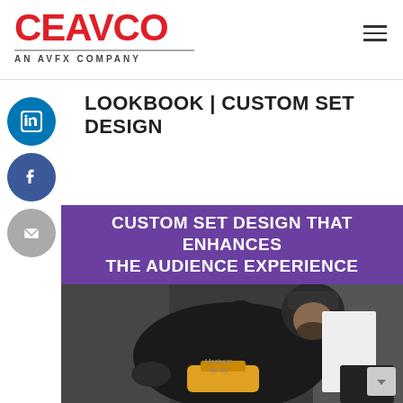[Figure (logo): CEAVCO logo in red bold text with tagline AN AVFX COMPANY below a horizontal rule]
LOOKBOOK | CUSTOM SET DESIGN
[Figure (illustration): LinkedIn social share icon - blue circle with white in logo]
[Figure (illustration): Facebook social share icon - dark blue circle with white f logo]
[Figure (illustration): Email social share icon - gray circle with white envelope icon]
CUSTOM SET DESIGN THAT ENHANCES THE AUDIENCE EXPERIENCE
[Figure (photo): A man wearing dark clothing and a beanie hat leaning over and working with power tools on a surface, in a workshop or event staging environment]